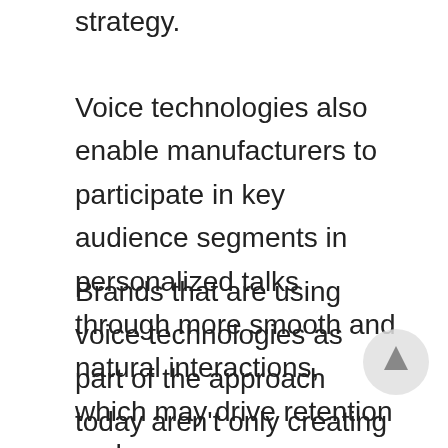strategy.
Voice technologies also enable manufacturers to participate in key audience segments in personalized talks through more smooth and natural interactions, which may drive retention and company development.
Brands that are using voice technologies as part of the approach today aren’t only creating new experiences for their customers but are starting to understand and invest in the future of consumer interactions (i.e.they are creating the specialized know-how to browse the new